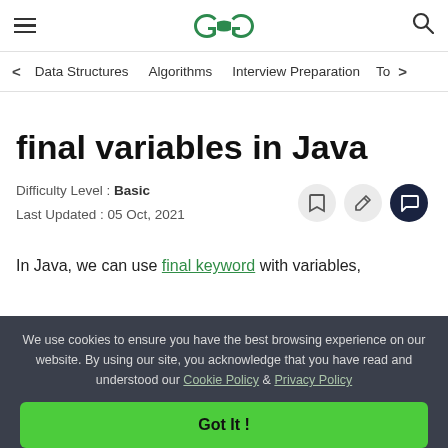GeeksforGeeks — hamburger menu, logo, search icon
< Data Structures   Algorithms   Interview Preparation   To>
final variables in Java
Difficulty Level : Basic
Last Updated : 05 Oct, 2021
In Java, we can use final keyword with variables,
We use cookies to ensure you have the best browsing experience on our website. By using our site, you acknowledge that you have read and understood our Cookie Policy & Privacy Policy
Got It !